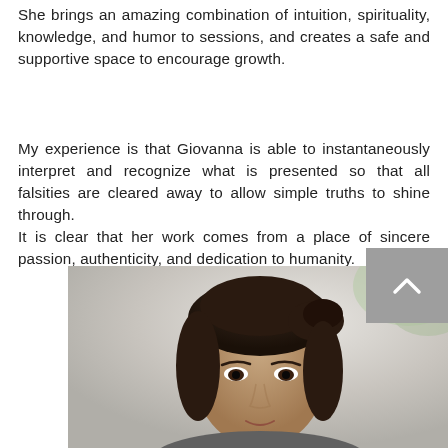She brings an amazing combination of intuition, spirituality, knowledge, and humor to sessions, and creates a safe and supportive space to encourage growth.
My experience is that Giovanna is able to instantaneously interpret and recognize what is presented so that all falsities are cleared away to allow simple truths to shine through.
It is clear that her work comes from a place of sincere passion, authenticity, and dedication to humanity.
— Jill K., Professional Agrologist
[Figure (photo): Portrait photo of a woman with dark hair up, facing forward, against a light/neutral background. A grey scroll-up button with a chevron/caret icon is visible on the right side.]